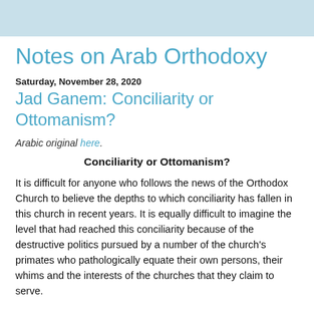Notes on Arab Orthodoxy
Notes on Arab Orthodoxy
Saturday, November 28, 2020
Jad Ganem: Conciliarity or Ottomanism?
Arabic original here.
Conciliarity or Ottomanism?
It is difficult for anyone who follows the news of the Orthodox Church to believe the depths to which conciliarity has fallen in this church in recent years. It is equally difficult to imagine the level that had reached this conciliarity because of the destructive politics pursued by a number of the church's primates who pathologically equate their own persons, their whims and the interests of the churches that they claim to serve.